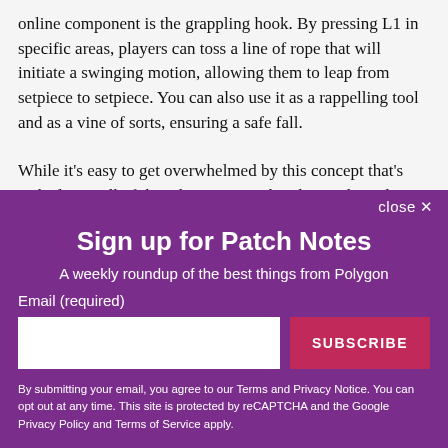online component is the grappling hook. By pressing L1 in specific areas, players can toss a line of rope that will initiate a swinging motion, allowing them to leap from setpiece to setpiece. You can also use it as a rappelling tool and as a vine of sorts, ensuring a safe fall.
While it's easy to get overwhelmed by this concept that's tacked onto all of the other nuances that the Uncharted series brings,
close ✕
Sign up for Patch Notes
A weekly roundup of the best things from Polygon
Email (required)
SUBSCRIBE
By submitting your email, you agree to our Terms and Privacy Notice. You can opt out at any time. This site is protected by reCAPTCHA and the Google Privacy Policy and Terms of Service apply.